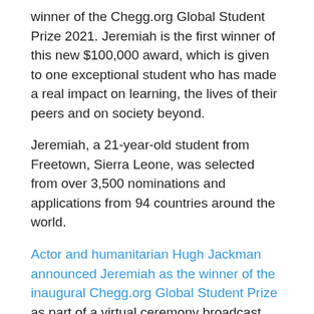winner of the Chegg.org Global Student Prize 2021. Jeremiah is the first winner of this new $100,000 award, which is given to one exceptional student who has made a real impact on learning, the lives of their peers and on society beyond.
Jeremiah, a 21-year-old student from Freetown, Sierra Leone, was selected from over 3,500 nominations and applications from 94 countries around the world.
Actor and humanitarian Hugh Jackman announced Jeremiah as the winner of the inaugural Chegg.org Global Student Prize as part of a virtual ceremony broadcast from UNESCO's headquarters in Paris.
The Varkey Foundation launched the Chegg.org Global Student Prize earlier this year, a sister award to its $1 million Global Teacher Prize, to create a powerful new platform that